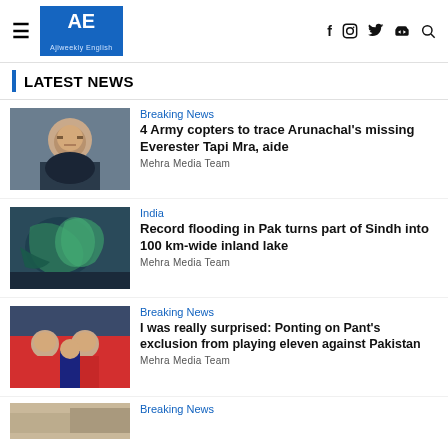AE Ajiweekly English — social icons: f, instagram, twitter, youtube, search
LATEST NEWS
[Figure (photo): Close-up portrait of an Asian man with a serious expression, wearing dark clothing]
Breaking News
4 Army copters to trace Arunachal's missing Everester Tapi Mra, aide
Mehra Media Team
[Figure (photo): Satellite or aerial image of flooding in Pakistan showing green and teal swirls over a map]
India
Record flooding in Pak turns part of Sindh into 100 km-wide inland lake
Mehra Media Team
[Figure (photo): Cricket players in red and blue uniforms sitting on a bench looking disappointed]
Breaking News
I was really surprised: Ponting on Pant's exclusion from playing eleven against Pakistan
Mehra Media Team
[Figure (photo): Partial image of a news thumbnail at the bottom of the page]
Breaking News